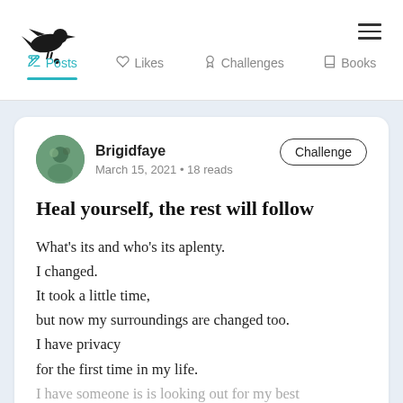Brigidfaye — Posts, Likes, Challenges, Books
Heal yourself, the rest will follow
Brigidfaye
March 15, 2021 • 18 reads
What's its and who's its aplenty.
I changed.
It took a little time,
but now my surroundings are changed too.
I have privacy
for the first time in my life.
I have someone is is looking out for my best